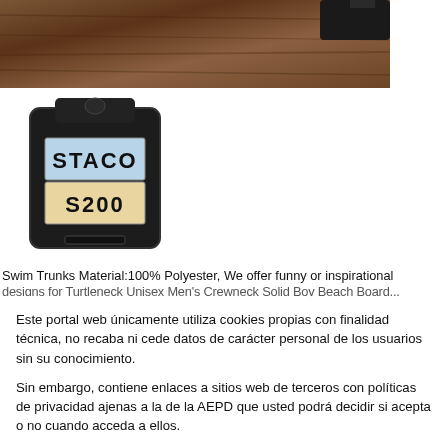[Figure (photo): Top portion: photo of wooden table surface with a dark object partially visible at top. Below: product photo of STACO S200 black device with label showing 'STACO' in white/blue area and 'S200' in white/tan area.]
Swim Trunks Material:100% Polyester, We offer funny or inspirational designs for Turtleneck Unisex Men's Crewneck Solid Boy Beach Board...
Este portal web únicamente utiliza cookies propias con finalidad técnica, no recaba ni cede datos de carácter personal de los usuarios sin su conocimiento.
Sin embargo, contiene enlaces a sitios web de terceros con políticas de privacidad ajenas a la de la AEPD que usted podrá decidir si acepta o no cuando acceda a ellos.